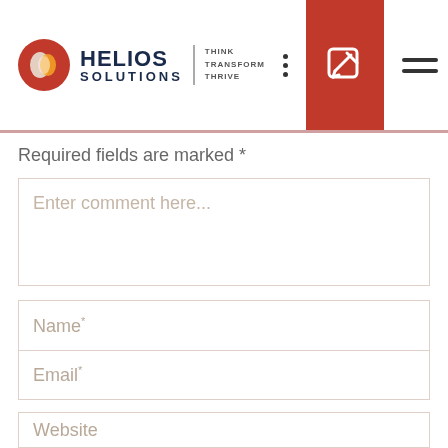[Figure (logo): Helios Solutions logo with red circle icon, company name HELIOS SOLUTIONS, tagline THINK TRANSFORM THRIVE, navigation icons including dots, red edit button, and hamburger menu]
Required fields are marked *
Enter comment here...
Name*
Email*
Website